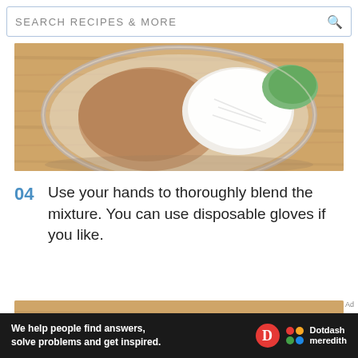SEARCH RECIPES & MORE
[Figure (photo): Overhead view of a glass bowl on a wooden surface containing raw ingredients: breadcrumbs, chopped onions, and green onions/scallions.]
04  Use your hands to thoroughly blend the mixture. You can use disposable gloves if you like.
[Figure (photo): Overhead view of a glass bowl on a wooden surface containing blended raw meat mixture with visible green pieces mixed in.]
We help people find answers, solve problems and get inspired.
[Figure (logo): Dotdash Meredith logo with red D circle and colorful dot grid icon]